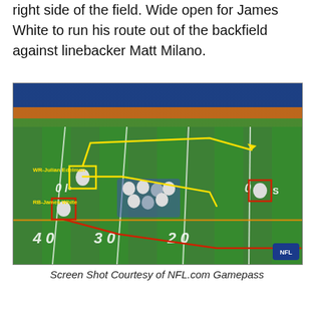right side of the field. Wide open for James White to run his route out of the backfield against linebacker Matt Milano.
[Figure (photo): Aerial football game screenshot showing an NFL play in progress on a green field. Yellow boxes label WR-Julian Edelman and RB-James White. Yellow arrows show pass routes, red arrow shows James White's route out of the backfield toward the right side of the field. Field yard markers 40, 30, 20 visible. NFL logo in bottom right corner. Stands visible in background.]
Screen Shot Courtesy of NFL.com Gamepass